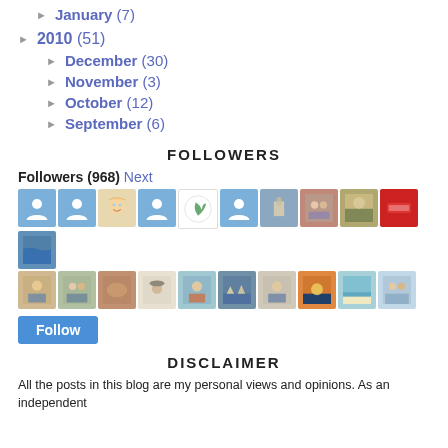► January (7)
► 2010 (51)
► December (30)
► November (3)
► October (12)
► September (6)
FOLLOWERS
Followers (968) Next
[Figure (photo): Grid of 20 follower avatar thumbnails arranged in 2 rows of 10, showing profile photos and default blue person icons, with a Follow button below]
DISCLAIMER
All the posts in this blog are my personal views and opinions. As an independent